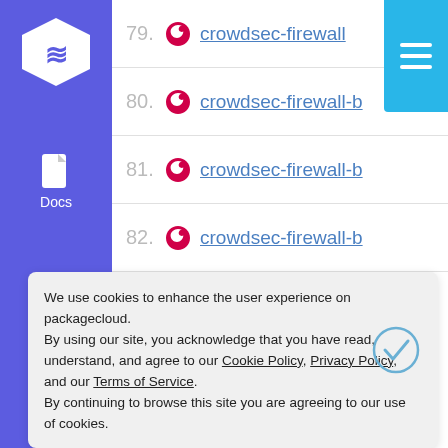[Figure (logo): Purple sidebar with hexagon logo icon and Docs label with document icon]
79. crowdsec-firewall-b
80. crowdsec-firewall-b
81. crowdsec-firewall-b
82. crowdsec-firewall-b
We use cookies to enhance the user experience on packagecloud. By using our site, you acknowledge that you have read, understand, and agree to our Cookie Policy, Privacy Policy, and our Terms of Service. By continuing to browse this site you are agreeing to our use of cookies.